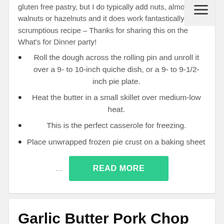gluten free pastry, but I do typically add nuts, almonds, walnuts or hazelnuts and it does work fantastically. And scrumptious recipe – Thanks for sharing this on the What's for Dinner party!
Roll the dough across the rolling pin and unroll it over a 9- to 10-inch quiche dish, or a 9- to 9-1/2-inch pie plate.
Heat the butter in a small skillet over medium-low heat.
This is the perfect casserole for freezing.
Place unwrapped frozen pie crust on a baking sheet
READ MORE
Garlic Butter Pork Chop Recipe Ready In Just 15